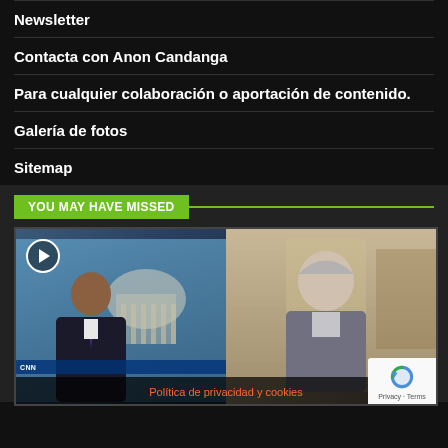Newsletter
Contacta con Anon Candanga
Para cualquier colaboración o aportación de contenido.
Galería de fotos
Sitemap
YOU MAY HAVE MISSED
[Figure (screenshot): Video thumbnail showing two people in a split-screen TV news interview, with a play button icon in the upper left. Left panel shows a dark-haired man in a suit with the US Capitol building behind him and a CNN-style lower third bar. Right panel shows a grey-haired man in a lighter setting. A reCAPTCHA badge appears in the lower right corner.]
Política de privacidad y cookies